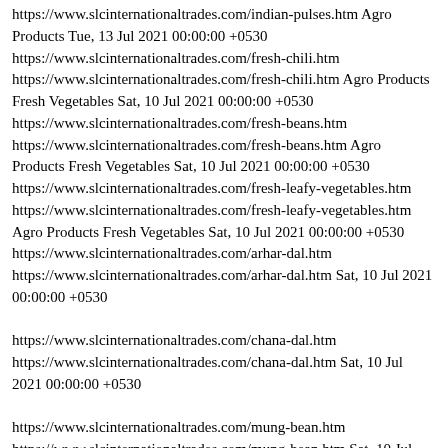https://www.slcinternationaltrades.com/indian-pulses.htm Agro Products Tue, 13 Jul 2021 00:00:00 +0530 https://www.slcinternationaltrades.com/fresh-chili.htm https://www.slcinternationaltrades.com/fresh-chili.htm Agro Products Fresh Vegetables Sat, 10 Jul 2021 00:00:00 +0530 https://www.slcinternationaltrades.com/fresh-beans.htm https://www.slcinternationaltrades.com/fresh-beans.htm Agro Products Fresh Vegetables Sat, 10 Jul 2021 00:00:00 +0530 https://www.slcinternationaltrades.com/fresh-leafy-vegetables.htm https://www.slcinternationaltrades.com/fresh-leafy-vegetables.htm Agro Products Fresh Vegetables Sat, 10 Jul 2021 00:00:00 +0530 https://www.slcinternationaltrades.com/arhar-dal.htm https://www.slcinternationaltrades.com/arhar-dal.htm Sat, 10 Jul 2021 00:00:00 +0530 https://www.slcinternationaltrades.com/chana-dal.htm https://www.slcinternationaltrades.com/chana-dal.htm Sat, 10 Jul 2021 00:00:00 +0530 https://www.slcinternationaltrades.com/mung-bean.htm https://www.slcinternationaltrades.com/mung-bean.htm Sat, 10 Jul 2021 00:00:00 +0530 https://www.slcinternationaltrades.com/pigeon-pea.htm https://www.slcinternationaltrades.com/pigeon-pea.htm Sat, 10 Jul 2021 00:00:00 +0530 https://www.slcinternationaltrades.com/red-lentils.htm https://www.slcinternationaltrades.com/red-lentils.htm Sat, 10 Jul 2021 00:00:00 +0530